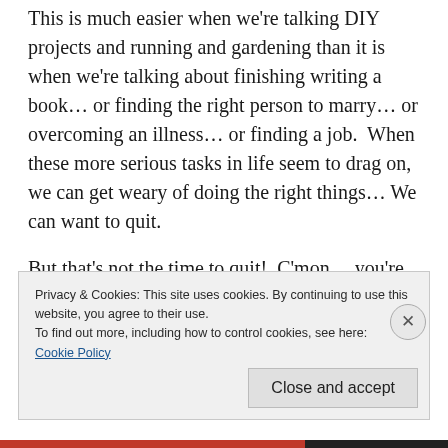This is much easier when we're talking DIY projects and running and gardening than it is when we're talking about finishing writing a book... or finding the right person to marry... or overcoming an illness... or finding a job.  When these more serious tasks in life seem to drag on, we can get weary of doing the right things... We can want to quit.
But that's not the time to quit!  C'mon... you're further along now than when you began.
Privacy & Cookies: This site uses cookies. By continuing to use this website, you agree to their use.
To find out more, including how to control cookies, see here:
Cookie Policy
Close and accept